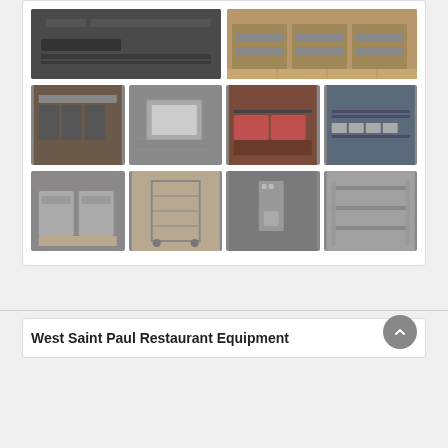[Figure (photo): Gallery of restaurant equipment photos arranged in a grid: top row shows two large photos of commercial kitchen equipment and drawers; middle row shows four smaller photos of kitchen appliances, sink, booth seating, and long tables; bottom row shows four smaller photos of refrigeration units, wire rack cart, wall-mounted equipment, and shelving.]
West Saint Paul Restaurant Equipment